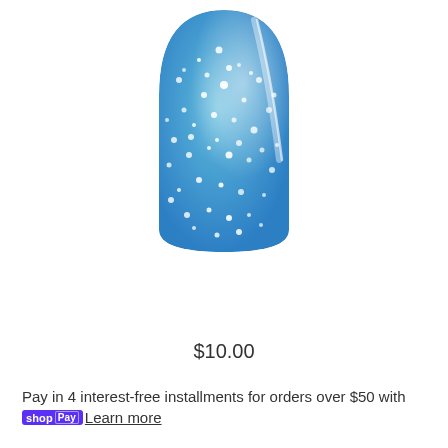[Figure (photo): Close-up photo of a fingernail painted with sparkling blue glitter nail polish against a white background. The nail tip is rounded and the blue glitter has white shimmer highlights.]
$10.00
Pay in 4 interest-free installments for orders over $50 with shop Pay Learn more